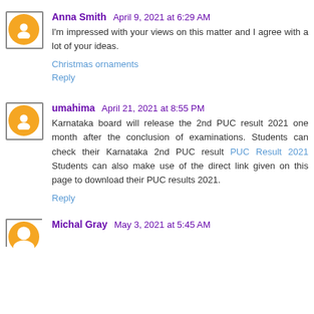Anna Smith April 9, 2021 at 6:29 AM
I'm impressed with your views on this matter and I agree with a lot of your ideas.
Christmas ornaments
Reply
umahima April 21, 2021 at 8:55 PM
Karnataka board will release the 2nd PUC result 2021 one month after the conclusion of examinations. Students can check their Karnataka 2nd PUC result PUC Result 2021 Students can also make use of the direct link given on this page to download their PUC results 2021.
Reply
Michal Gray May 3, 2021 at 5:45 AM